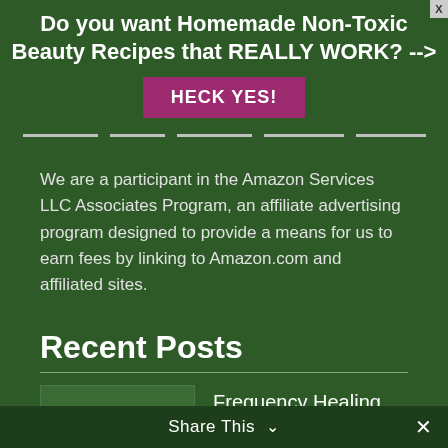Do you want Homemade Non-Toxic Beauty Recipes that REALLY WORK? -->
HECK YES!
We are a participant in the Amazon Services LLC Associates Program, an affiliate advertising program designed to provide a means for us to earn fees by linking to Amazon.com and affiliated sites.
Recent Posts
[Figure (photo): Thumbnail image for Frequency Healing Basics post]
Frequency Healing Basics
No Comments
Share This ∨  ×